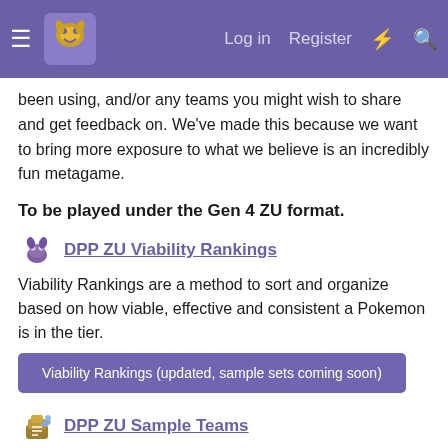Navigation bar with hamburger menu, site logo, Log in, Register, and search icons
been using, and/or any teams you might wish to share and get feedback on. We've made this because we want to bring more exposure to what we believe is an incredibly fun metagame.
To be played under the Gen 4 ZU format.
DPP ZU Viability Rankings
Viability Rankings are a method to sort and organize based on how viable, effective and consistent a Pokemon is in the tier.
Viability Rankings (updated, sample sets coming soon)
DPP ZU Sample Teams
Sample teams are here to help new players jump right into the metagame.
Sample Teams
Unorthodox DPP ZU Role Compendium